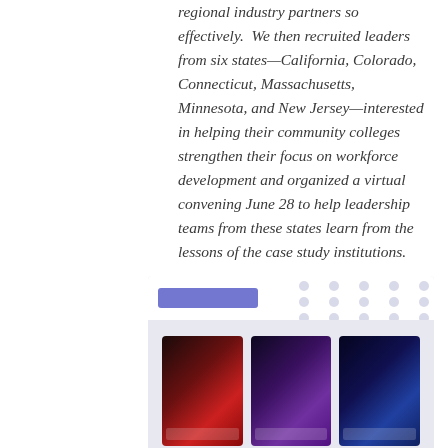regional industry partners so effectively.  We then recruited leaders from six states—California, Colorado, Connecticut, Massachusetts, Minnesota, and New Jersey—interested in helping their community colleges strengthen their focus on workforce development and organized a virtual convening June 28 to help leadership teams from these states learn from the lessons of the case study institutions.
[Figure (screenshot): Screenshot of a website interface showing a header with a logo/brand mark and a grid of three thumbnail images with dark colorful backgrounds (red, purple, blue).]